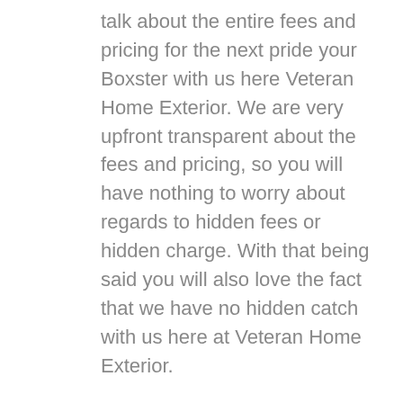talk about the entire fees and pricing for the next pride your Boxster with us here Veteran Home Exterior. We are very upfront transparent about the fees and pricing, so you will have nothing to worry about regards to hidden fees or hidden charge. With that being said you will also love the fact that we have no hidden catch with us here at Veteran Home Exterior.
We here Veteran Home Exterior understand the importance of our customers, we understand that because of our customers we are in service. We want to keep being the service for many